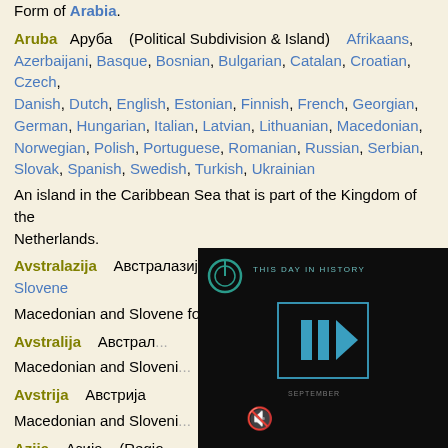Form of Arabia.
Aruba   Аруба   (Political Subdivision & Island)   Afrikaans, Azerbaijani, Basque, Bosnian, Bulgarian, Catalan, Croatian, Czech, Danish, Dutch, English, Estonian, Finnish, French, Georgian, German, Hungarian, Italian, Latvian, Lithuanian, Macedonian, Norwegian, Polish, Portuguese, Romanian, Russian, Serbian, Slovak, Spanish, Swedish, Turkish, Ukrainian
An island in the Caribbean Sea that is part of the Kingdom of the Netherlands.
Avstralazija   Австралазија   (Region)   Macedonian, Slovene
Macedonian and Slovene form of Australasia.
Avstralija   Австрал...
Macedonian and Sloveni...
Avstrija   Австрија
Macedonian and Sloveni...
Azija   Азија   (Regio...